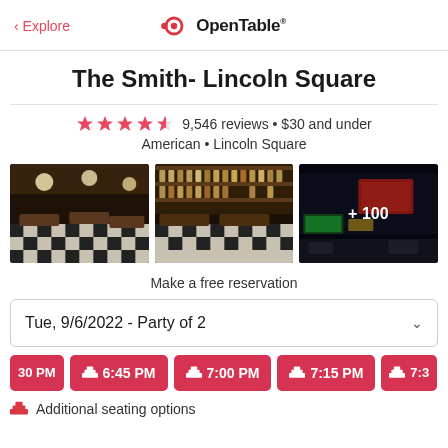< Explore | OpenTable
The Smith- Lincoln Square
★★★★½ 9,546 reviews • $30 and under
American • Lincoln Square
[Figure (photo): Three restaurant interior/exterior photos side by side; third photo shows +100 overlay]
Make a free reservation
Tue, 9/6/2022 - Party of 2
6:30 PM
6:45 PM
7:00 PM
7:15 PM
7:3...
Additional seating options